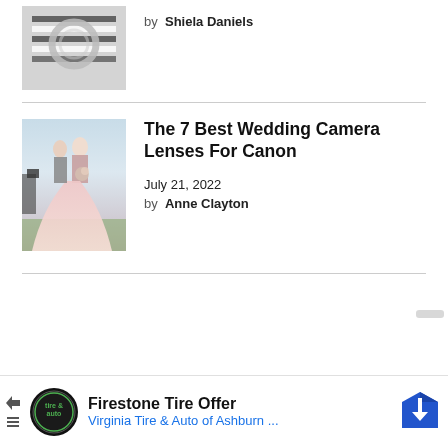[Figure (photo): Partial view of wedding rings on a striped ribbon, black and white photo]
by Shiela Daniels
[Figure (photo): Wedding couple kissing outdoors, bride in pink dress, photographer capturing them]
The 7 Best Wedding Camera Lenses For Canon
July 21, 2022
by Anne Clayton
[Figure (other): Advertisement: Firestone Tire Offer - Virginia Tire & Auto of Ashburn ...]